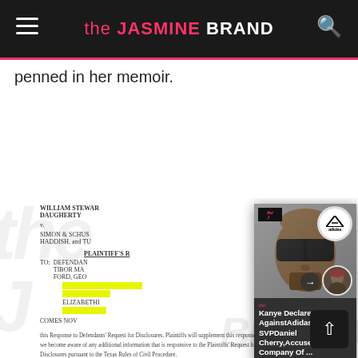the JASMINE BRAND
penned in her memoir.
[Figure (screenshot): Legal document showing plaintiff William Stewart Daugherty v. Simon & Schuster, Haddish, and Tuc, with highlighted sections and legal body text about Response to Defendants' Request for Disclosures, with a watermark of the Jasmine Brand logo and an overlaid popup card showing Kanye West with Adidas logo and headline 'Kanye Declares War AgainstAdidas & SVPDaniel Cherry,Accuses Company Of ...']